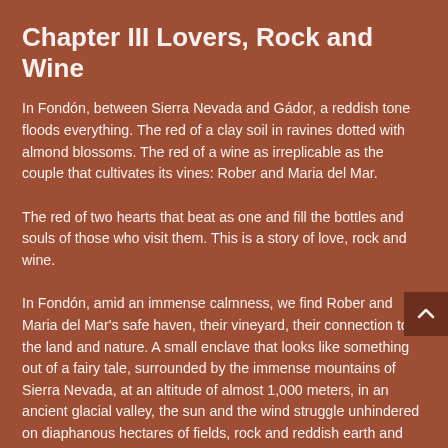Chapter III Lovers, Rock and Wine
In Fondón, between Sierra Nevada and Gádor, a reddish tone floods everything. The red of a clay soil in ravines dotted with almond blossoms. The red of a wine as irreplicable as the couple that cultivates its vines: Rober and Maria del Mar.
The red of two hearts that beat as one and fill the bottles and souls of those who visit them. This is a story of love, rock and wine.
In Fondón, amid an immense calmness, we find Rober and Maria del Mar's safe haven, their vineyard, their connection to the land and nature. A small enclave that looks like something out of a fairy tale, surrounded by the immense mountains of Sierra Nevada, at an altitude of almost 1,000 meters, in an ancient glacial valley, the sun and the wind struggle unhindered on diaphanous hectares of fields, rock and reddish earth and amid of budding vines.